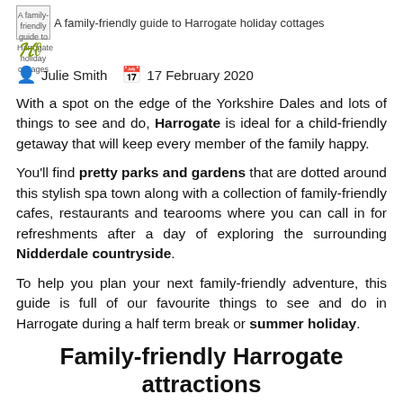A family-friendly guide to Harrogate holiday cottages
Julie Smith   17 February 2020
With a spot on the edge of the Yorkshire Dales and lots of things to see and do, Harrogate is ideal for a child-friendly getaway that will keep every member of the family happy.
You'll find pretty parks and gardens that are dotted around this stylish spa town along with a collection of family-friendly cafes, restaurants and tearooms where you can call in for refreshments after a day of exploring the surrounding Nidderdale countryside.
To help you plan your next family-friendly adventure, this guide is full of our favourite things to see and do in Harrogate during a half term break or summer holiday.
Family-friendly Harrogate attractions